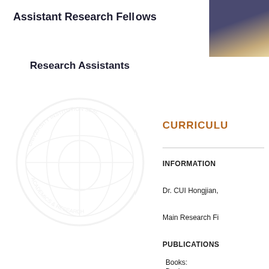Assistant Research Fellows
Research Assistants
[Figure (logo): Circular institutional seal/watermark with globe motif, very light gray, positioned in left column]
[Figure (photo): Portrait photo of a person in dark jacket and gold tie, partially visible in top right corner]
CURRICULUM VITAE (truncated as CURRICULU on visible portion)
INFORMATION
Dr. CUI Hongjian,
Main Research Fi
PUBLICATIONS
Books:
1.Roy F. Baumeis